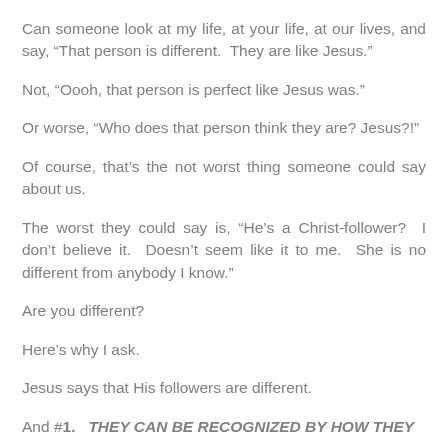Can someone look at my life, at your life, at our lives, and say, “That person is different.  They are like Jesus.”
Not, “Oooh, that person is perfect like Jesus was.”
Or worse, “Who does that person think they are? Jesus?!”
Of course, that’s the not worst thing someone could say about us.
The worst they could say is, “He’s a Christ-follower?  I don’t believe it.  Doesn’t seem like it to me.  She is no different from anybody I know.”
Are you different?
Here’s why I ask.
Jesus says that His followers are different.
And #1.  THEY CAN BE RECOGNIZED BY HOW THEY